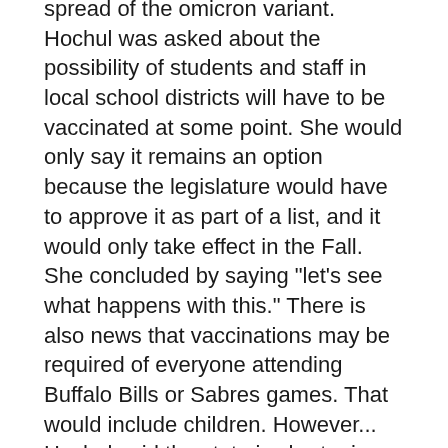spread of the omicron variant.  Hochul was asked about the possibility of students and staff in local school districts will have to be vaccinated at some point.  She would only say it remains an option because the legislature would have to approve it as part of a list, and it would only take effect in the Fall.  She concluded by saying "let's see what happens with this."  There is also news that vaccinations may be required of everyone attending Buffalo Bills or Sabres games.  That would include children.  However... Hochul said the state is shortening the amount of time essential workers must stay home after testing positive.  Fully vaccinated people in health care, and other frontline fields can return to work after five days instead of 10 if they're not showing symptoms or the symptoms are resolving.  They must also wear masks on the job.
Transient man arrested for allegedly breaking into Brooklyn Square Tim Horton's...